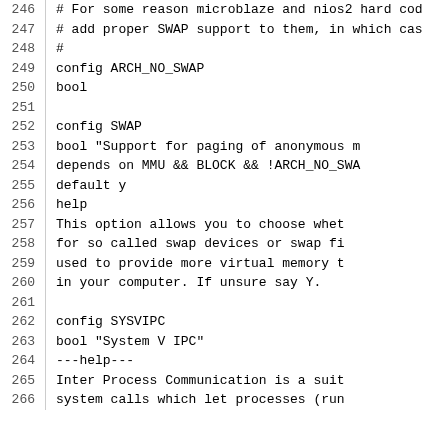246  # For some reason microblaze and nios2 hard cod
247  # add proper SWAP support to them, in which cas
248  #
249  config ARCH_NO_SWAP
250          bool
251
252  config SWAP
253          bool "Support for paging of anonymous m
254          depends on MMU && BLOCK && !ARCH_NO_SWA
255          default y
256          help
257            This option allows you to choose whet
258            for so called swap devices or swap fi
259            used to provide more virtual memory t
260            in your computer.  If unsure say Y.
261
262  config SYSVIPC
263          bool "System V IPC"
264          ---help---
265            Inter Process Communication is a suit
266            system calls which let processes (run